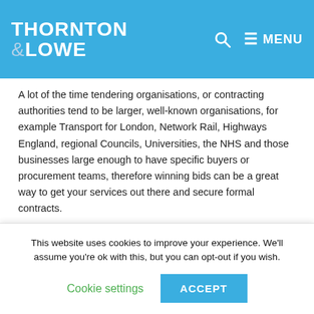THORNTON & LOWE
A lot of the time tendering organisations, or contracting authorities tend to be larger, well-known organisations, for example Transport for London, Network Rail, Highways England, regional Councils, Universities, the NHS and those businesses large enough to have specific buyers or procurement teams, therefore winning bids can be a great way to get your services out there and secure formal contracts.
What is tender writing?
This website uses cookies to improve your experience. We'll assume you're ok with this, but you can opt-out if you wish.